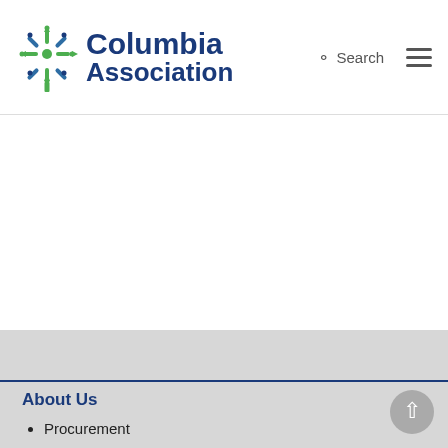Columbia Association — Search (navigation header)
About Us
Procurement
Financials
Careers
Spirit of Columbia Scholarship